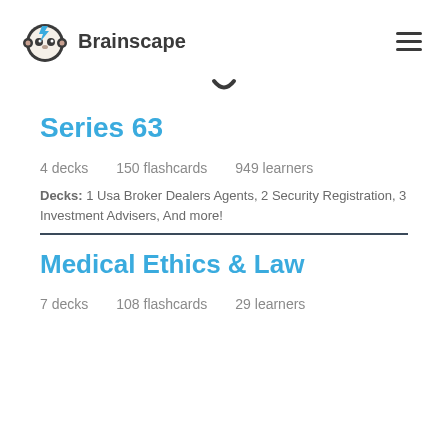Brainscape
[Figure (logo): Brainscape logo with sloth face icon and brand name]
Series 63
4 decks   150 flashcards   949 learners
Decks: 1 Usa Broker Dealers Agents, 2 Security Registration, 3 Investment Advisers, And more!
Medical Ethics & Law
7 decks   108 flashcards   29 learners